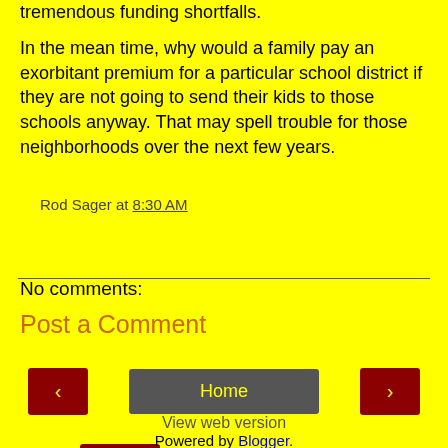tremendous funding shortfalls.
In the mean time, why would a family pay an exorbitant premium for a particular school district if they are not going to send their kids to those schools anyway. That may spell trouble for those neighborhoods over the next few years.
Rod Sager at 8:30 AM
Share
No comments:
Post a Comment
‹
Home
›
View web version
Powered by Blogger.